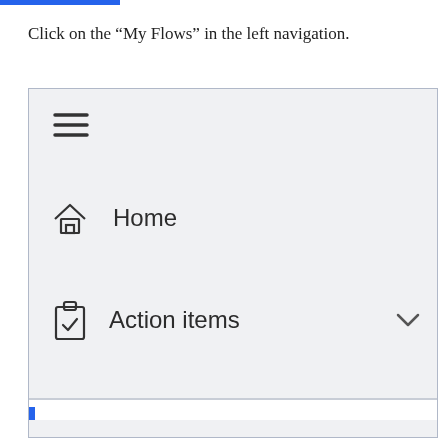Click on the “My Flows” in the left navigation.
[Figure (screenshot): Screenshot of a navigation panel showing a hamburger menu icon, a Home menu item with house icon, an Action items menu item with clipboard icon and chevron, and a highlighted My flows menu item with a blue vertical bar indicator and flow icon.]